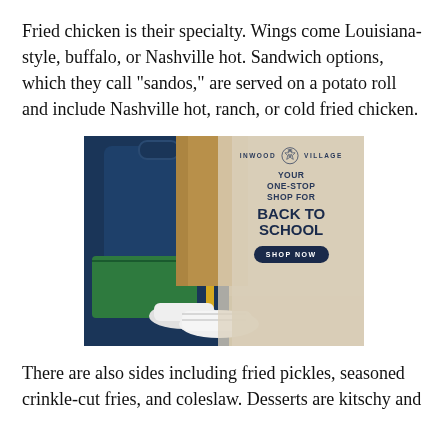Fried chicken is their specialty. Wings come Louisiana-style, buffalo, or Nashville hot. Sandwich options, which they call "sandos," are served on a potato roll and include Nashville hot, ranch, or cold fried chicken.
[Figure (photo): Advertisement for Inwood Village shopping center. Shows a child's legs wearing khaki pants and white sneakers, standing next to a navy blue and green backpack. Text overlay reads: 'INWOOD VILLAGE - YOUR ONE-STOP SHOP FOR BACK TO SCHOOL - SHOP NOW']
There are also sides including fried pickles, seasoned crinkle-cut fries, and coleslaw. Desserts are kitschy and